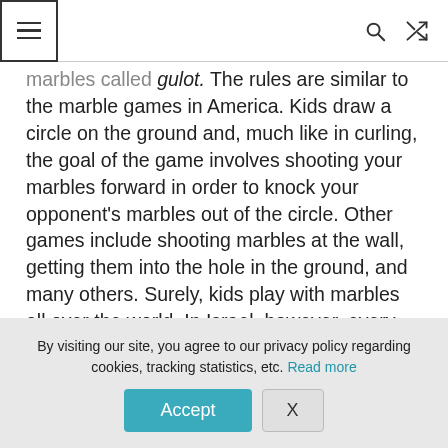[Navigation bar with hamburger menu, search icon, and shuffle icon]
marbles called gulot. The rules are similar to the marble games in America. Kids draw a circle on the ground and, much like in curling, the goal of the game involves shooting your marbles forward in order to knock your opponent's marbles out of the circle. Other games include shooting marbles at the wall, getting them into the hole in the ground, and many others. Surely, kids play with marbles all over the world. In Israel, however, every marble also has a special name. Thus, for example, a striped marble
By visiting our site, you agree to our privacy policy regarding cookies, tracking statistics, etc. Read more
Accept
X